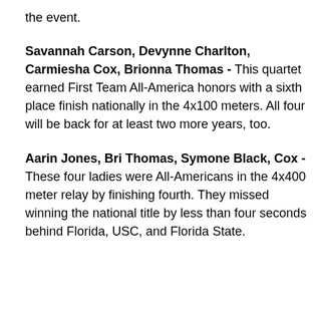the event.
Savannah Carson, Devynne Charlton, Carmiesha Cox, Brionna Thomas - This quartet earned First Team All-America honors with a sixth place finish nationally in the 4x100 meters. All four will be back for at least two more years, too.
Aarin Jones, Bri Thomas, Symone Black, Cox - These four ladies were All-Americans in the 4x400 meter relay by finishing fourth. They missed winning the national title by less than four seconds behind Florida, USC, and Florida State.